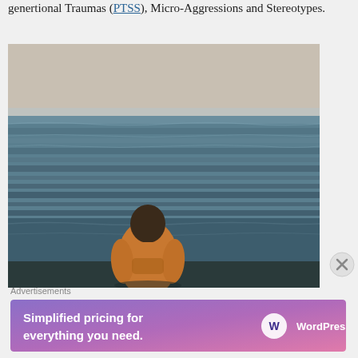genertional Traumas (PTSS), Micro-Aggressions and Stereotypes.
[Figure (photo): A man in an orange hoodie standing with his back to the camera, looking out at the ocean/sea under a pale sky.]
Advertisements
[Figure (screenshot): WordPress.com advertisement banner reading 'Simplified pricing for everything you need.' with WordPress.com logo on a gradient purple-to-pink background.]